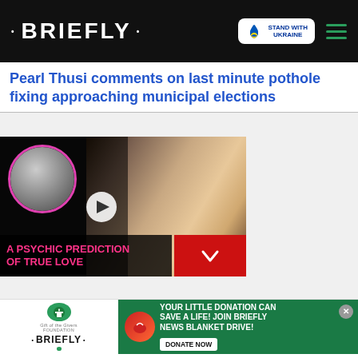• BRIEFLY •
Pearl Thusi comments on last minute pothole fixing approaching municipal elections
[Figure (screenshot): Video popup showing a blonde woman's face on a dark background with a circular portrait inset on left. Pink text overlay reads 'A PSYCHIC PREDICTION OF TRUE LOVE'. Red button with chevron at bottom right. Close (X) button at top left.]
[Figure (photo): Advertisement banner: Gift of the Givers foundation logo with Briefly branding on left. Green background with text 'YOUR LITTLE DONATION CAN SAVE A LIFE! JOIN BRIEFLY NEWS BLANKET DRIVE!' and DONATE NOW button on right.]